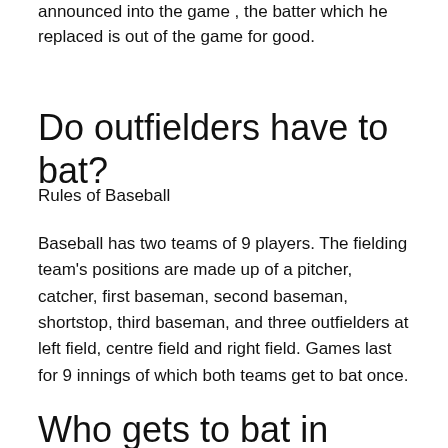announced into the game , the batter which he replaced is out of the game for good.
Do outfielders have to bat?
Rules of Baseball
Baseball has two teams of 9 players. The fielding team’s positions are made up of a pitcher, catcher, first baseman, second baseman, shortstop, third baseman, and three outfielders at left field, centre field and right field. Games last for 9 innings of which both teams get to bat once.
Who gets to bat in baseball?